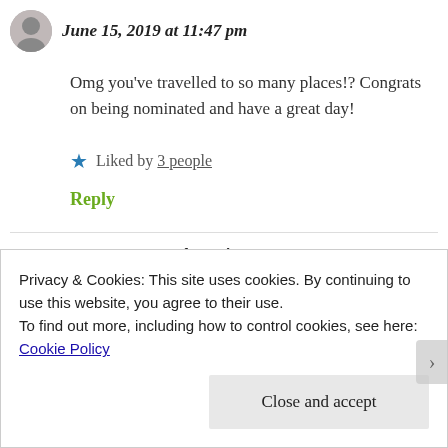June 15, 2019 at 11:47 pm
Omg you’ve travelled to so many places!? Congrats on being nominated and have a great day!
★ Liked by 3 people
Reply
Chocoviv says:
Privacy & Cookies: This site uses cookies. By continuing to use this website, you agree to their use.
To find out more, including how to control cookies, see here: Cookie Policy
Close and accept